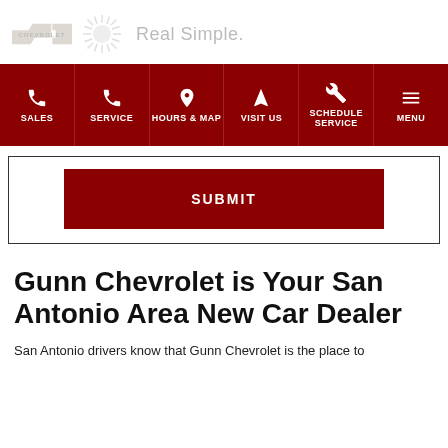[Figure (logo): Chevrolet bowtie logo with CHEVROLET text below, Gunn Chevrolet sunburst logo, and 'Real Simple.' tagline]
[Figure (screenshot): Navigation bar with dark red background showing SALES, SERVICE, HOURS & MAP, VISIT US, SCHEDULE SERVICE, MENU buttons with icons]
[Figure (screenshot): Form section with bordered box containing a dark red SUBMIT button]
Gunn Chevrolet is Your San Antonio Area New Car Dealer
San Antonio drivers know that Gunn Chevrolet is the place to